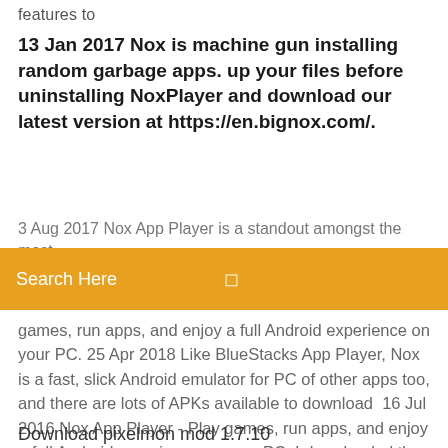features to
13 Jan 2017 Nox is machine gun installing random garbage apps. up your files before uninstalling NoxPlayer and download our latest version at https://en.bignox.com/.
3 Aug 2017 Nox App Player is a standout amongst the most
Search Here
games, run apps, and enjoy a full Android experience on your PC. 25 Apr 2018 Like BlueStacks App Player, Nox is a fast, slick Android emulator for PC of other apps too, and there are lots of APKs available to download  16 Jul 2016 Nox App Player - Play games, run apps, and enjoy a full Android experience on your PC. I downloaded the newest nox version, I uninstalled the pokemon go app there because it was outdated, then I downloaded the apk file of the newest version of
Download pixelmon mod 1.7.10